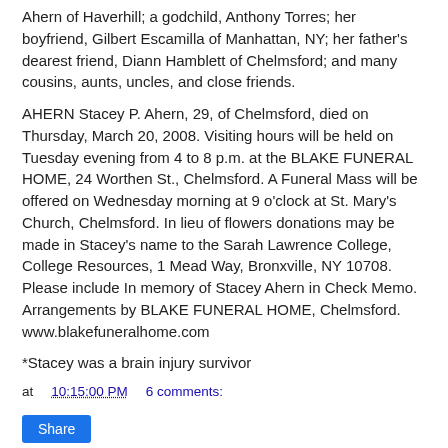Ahern of Haverhill; a godchild, Anthony Torres; her boyfriend, Gilbert Escamilla of Manhattan, NY; her father's dearest friend, Diann Hamblett of Chelmsford; and many cousins, aunts, uncles, and close friends.
AHERN Stacey P. Ahern, 29, of Chelmsford, died on Thursday, March 20, 2008. Visiting hours will be held on Tuesday evening from 4 to 8 p.m. at the BLAKE FUNERAL HOME, 24 Worthen St., Chelmsford. A Funeral Mass will be offered on Wednesday morning at 9 o'clock at St. Mary's Church, Chelmsford. In lieu of flowers donations may be made in Stacey's name to the Sarah Lawrence College, College Resources, 1 Mead Way, Bronxville, NY 10708. Please include In memory of Stacey Ahern in Check Memo. Arrangements by BLAKE FUNERAL HOME, Chelmsford. www.blakefuneralhome.com
*Stacey was a brain injury survivor
at 10:15:00 PM    6 comments: